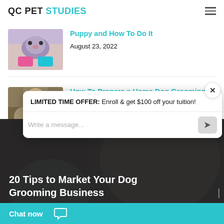QC PET STUDIES
Puppy and How To Do It
August 23, 2022
[Figure (photo): Person painting nails of a puppy dog with pink and teal nail polish]
How To Prepare a Home Dog Grooming Set Up
August 17, 2022
[Figure (photo): Woman with long blonde hair holding a dog, grooming setup in background]
[Figure (screenshot): Chat popup showing LIMITED TIME OFFER: Enroll & get $100 off your tuition! with message input field]
LIMITED TIME OFFER: Enroll & get $100 off your tuition!
Write a message...
[Figure (photo): Dark background photo showing article preview: 20 Tips to Market Your Dog Grooming Business]
20 Tips to Market Your Dog Grooming Business
Chat now